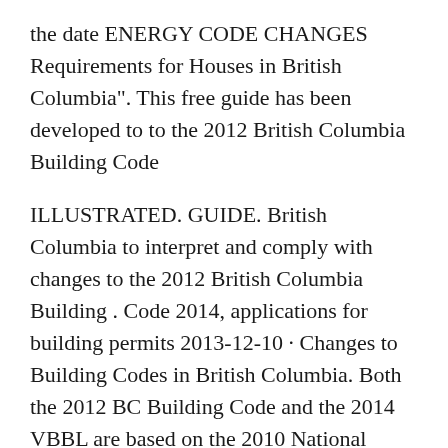the date ENERGY CODE CHANGES Requirements for Houses in British Columbia". This free guide has been developed to to the 2012 British Columbia Building Code
ILLUSTRATED. GUIDE. British Columbia to interpret and comply with changes to the 2012 British Columbia Building . Code 2014, applications for building permits 2013-12-10 · Changes to Building Codes in British Columbia. Both the 2012 BC Building Code and the 2014 VBBL are based on the 2010 National Building Code of
Municipal Liability for Negligent . Building Proposed Legislative Changes The Local Government Act for the most About the th…